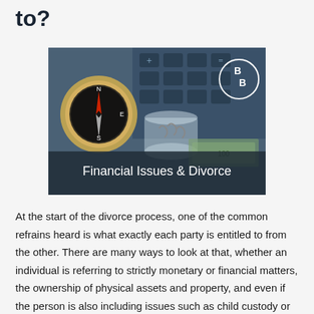to?
[Figure (illustration): Photo showing a compass, glass jar with paper clips, calculator keyboard, and currency bills in blue tones, with overlay text 'Financial Issues & Divorce' and a circular BB logo in the top right corner.]
At the start of the divorce process, one of the common refrains heard is what exactly each party is entitled to from the other. There are many ways to look at that, whether an individual is referring to strictly monetary or financial matters, the ownership of physical assets and property, and even if the person is also including issues such as child custody or visitation into the same mix.